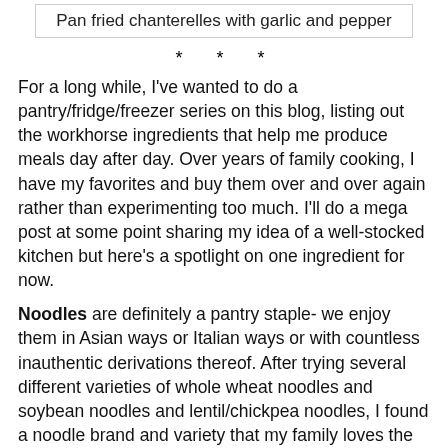Pan fried chanterelles with garlic and pepper
* * *
For a long while, I've wanted to do a pantry/fridge/freezer series on this blog, listing out the workhorse ingredients that help me produce meals day after day. Over years of family cooking, I have my favorites and buy them over and over again rather than experimenting too much. I'll do a mega post at some point sharing my idea of a well-stocked kitchen but here's a spotlight on one ingredient for now.
Noodles are definitely a pantry staple- we enjoy them in Asian ways or Italian ways or with countless inauthentic derivations thereof. After trying several different varieties of whole wheat noodles and soybean noodles and lentil/chickpea noodles, I found a noodle brand and variety that my family loves the best- Barilla Protein+ or Plus or something- I recognize the yellow box- and that's what I have been stocking up on. (As always, when I mention particular products, it is because I like them and not because the company is paying me!) I cook a whole box of these noodles and cook them into 2-3 meals.